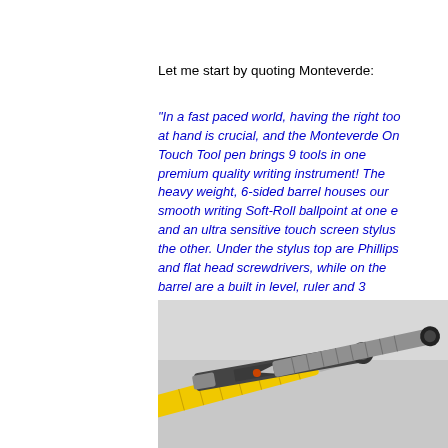Let me start by quoting Monteverde:
"In a fast paced world, having the right tools at hand is crucial, and the Monteverde One Touch Tool pen brings 9 tools in one premium quality writing instrument! The heavy weight, 6-sided barrel houses our smooth writing Soft-Roll ballpoint at one end and an ultra sensitive touch screen stylus at the other. Under the stylus top are Phillips and flat head screwdrivers, while on the barrel are a built in level, ruler and 3 different scale functions. The chiseled spring clip keeps the pen in your pocket, ready to handle more jobs than you can imagine."
[Figure (photo): Three multi-tool pens lying on a gray surface. One is yellow, others are silver/black with stylus tips and metallic knurled grips.]